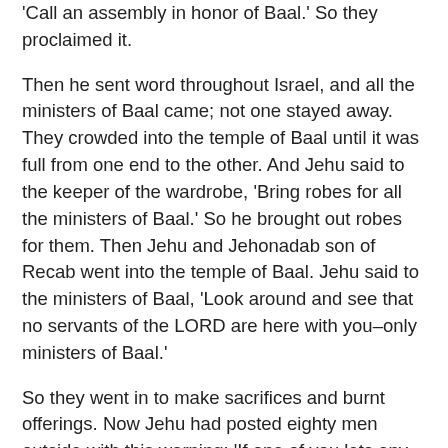'Call an assembly in honor of Baal.' So they proclaimed it.
Then he sent word throughout Israel, and all the ministers of Baal came; not one stayed away. They crowded into the temple of Baal until it was full from one end to the other. And Jehu said to the keeper of the wardrobe, 'Bring robes for all the ministers of Baal.' So he brought out robes for them. Then Jehu and Jehonadab son of Recab went into the temple of Baal. Jehu said to the ministers of Baal, 'Look around and see that no servants of the LORD are here with you–only ministers of Baal.'
So they went in to make sacrifices and burnt offerings. Now Jehu had posted eighty men outside with this warning: 'If one of you lets any of the men I am placing in your hands escape, it will be your life for his life.' As soon as Jehu had finished making the burnt offering, he ordered the guards and officers: 'Go in and kill them; let no one escape.' So they cut them down with the sword. The guards and officers threw the bodies out and then entered the inner shrine of the temple of Baal. They brought the sacred stone out of the temple of Baal and burned it. They demolished the sacred